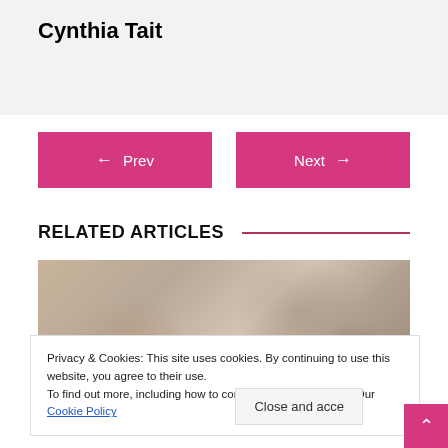Cynthia Tait
[Figure (other): Two pink navigation buttons: Prev (left arrow) and Next (right arrow)]
RELATED ARTICLES
[Figure (photo): A soft-focus photo of a sleeping baby]
Privacy & Cookies: This site uses cookies. By continuing to use this website, you agree to their use.
To find out more, including how to control cookies, see here: Our Cookie Policy
Close and accept